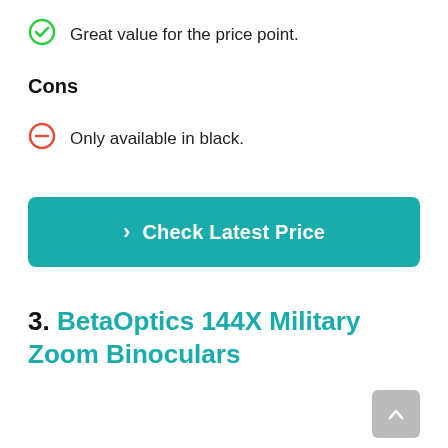Great value for the price point.
Cons
Only available in black.
> Check Latest Price
3. BetaOptics 144X Military Zoom Binoculars